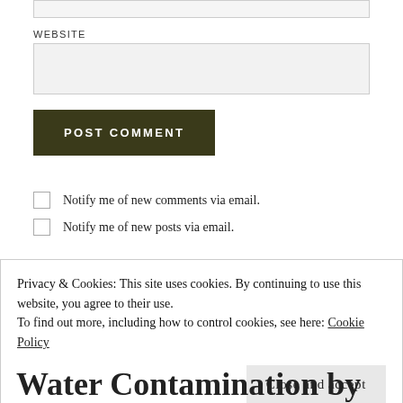WEBSITE
POST COMMENT
Notify me of new comments via email.
Notify me of new posts via email.
Privacy & Cookies: This site uses cookies. By continuing to use this website, you agree to their use.
To find out more, including how to control cookies, see here: Cookie Policy
Close and accept
Water Contamination by